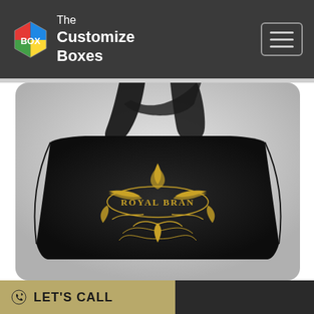[Figure (logo): The Customize Boxes logo with colorful hexagon icon showing BOX text, on dark gray navigation header with hamburger menu button on the right]
[Figure (photo): A luxury black matte pillow-style shopping bag with black ribbon handles, featuring an ornate gold 'ROYAL BRAN' (partially visible) embossed logo design on a light gray background]
LET'S CALL